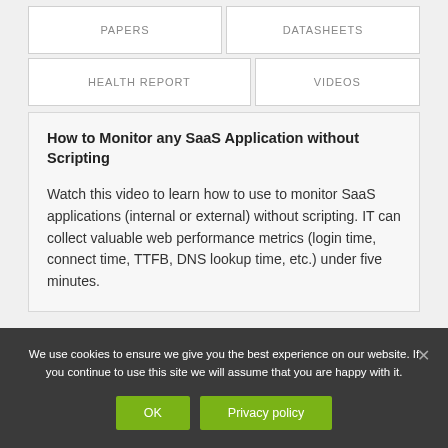| PAPERS | DATASHEETS |
| --- | --- |
| HEALTH REPORT | VIDEOS |
| --- | --- |
How to Monitor any SaaS Application without Scripting
Watch this video to learn how to use to monitor SaaS applications (internal or external) without scripting. IT can collect valuable web performance metrics (login time, connect time, TTFB, DNS lookup time, etc.) under five minutes.
We use cookies to ensure we give you the best experience on our website. If you continue to use this site we will assume that you are happy with it.
OK
Privacy policy